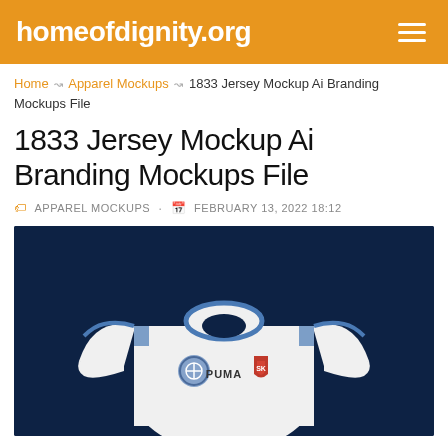homeofdignity.org
Home > Apparel Mockups > 1833 Jersey Mockup Ai Branding Mockups File
1833 Jersey Mockup Ai Branding Mockups File
APPAREL MOCKUPS · FEBRUARY 13, 2022 18:12
[Figure (photo): White football/soccer jersey with blue trim on collar and shoulders, featuring a circular team badge, Puma logo, and a red shield crest on the chest. The jersey is displayed against a dark navy blue background.]